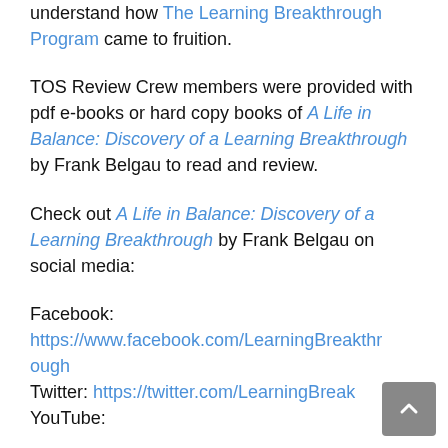understand how The Learning Breakthrough Program came to fruition.
TOS Review Crew members were provided with pdf e-books or hard copy books of A Life in Balance: Discovery of a Learning Breakthrough by Frank Belgau to read and review.
Check out A Life in Balance: Discovery of a Learning Breakthrough by Frank Belgau on social media:
Facebook: https://www.facebook.com/LearningBreakthrough
Twitter: https://twitter.com/LearningBreak
YouTube: